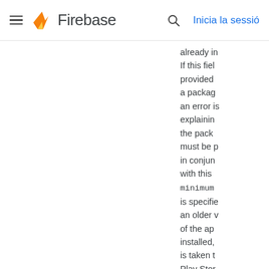Firebase — Inicia la sessió
already in If this fiel provided a packag an error is explainin the pack must be p in conjun with this minimum is specifie an older v of the ap installed, is taken t Play Stor upgrade t The Andr needs to